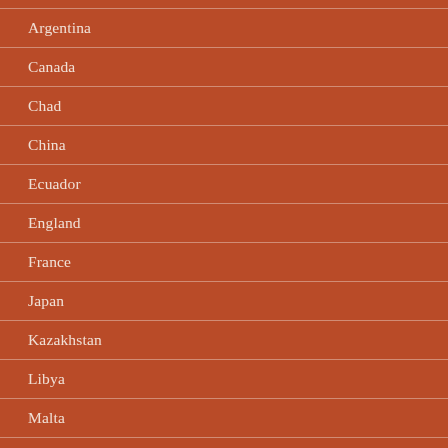Argentina
Canada
Chad
China
Ecuador
England
France
Japan
Kazakhstan
Libya
Malta
Morocco